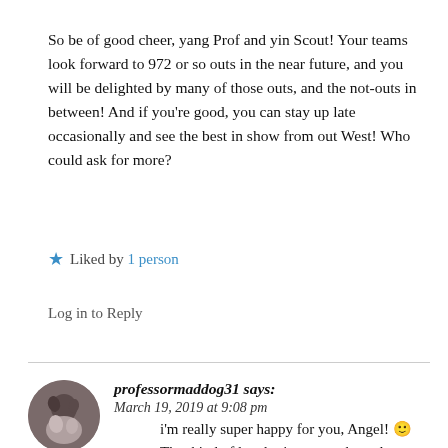So be of good cheer, yang Prof and yin Scout! Your teams look forward to 972 or so outs in the near future, and you will be delighted by many of those outs, and the not-outs in between! And if you’re good, you can stay up late occasionally and see the best in show from out West! Who could ask for more?
★ Liked by 1 person
Log in to Reply
professormaddog31 says: March 19, 2019 at 9:08 pm
i’m really super happy for you, Angel! 🙂 That kind of loyalty is so rare these days – shoutout